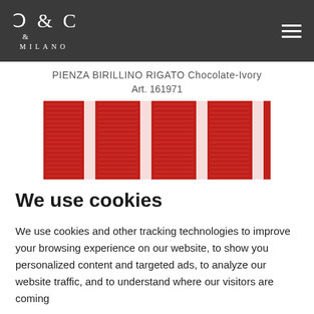C & C Milano
PIENZA BIRILLINO RIGATO Chocolate-Ivory
Art. 161971
[Figure (photo): Close-up photograph of a red and white striped fabric (PIENZA BIRILLINO RIGATO Chocolate-Ivory), showing repeated vertical stripe patterns with textured weave.]
We use cookies
We use cookies and other tracking technologies to improve your browsing experience on our website, to show you personalized content and targeted ads, to analyze our website traffic, and to understand where our visitors are coming